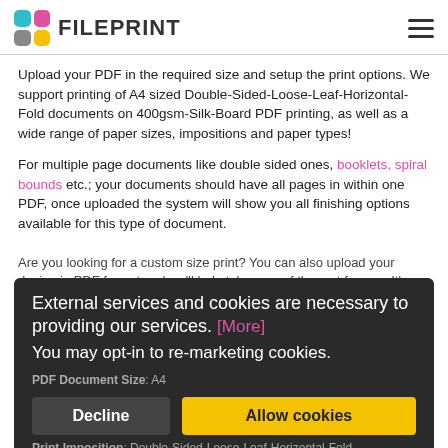[Figure (logo): FilePrint logo with colored squares (cyan, magenta, gray, yellow) and bold text FILEPRINT]
Upload your PDF in the required size and setup the print options. We support printing of A4 sized Double-Sided-Loose-Leaf-Horizontal-Fold documents on 400gsm-Silk-Board PDF printing, as well as a wide range of paper sizes, impositions and paper types!
For multiple page documents like double sided ones, booklets, spiral bounds etc.; your documents should have all pages in within one PDF, once uploaded the system will show you all finishing options available for this type of document.
Are you looking for a custom size print? You can also upload your design in PDF format and we'll help take care of the rest for you. It's a quick and easy way to get your documents from your desktop to your door step.
External services and cookies are necessary to providing our services. [More]
You may opt-in to re-marketing cookies.
PDF Document Size: A4
Print Imposition: Double-Sided-Loose-Leaf-Horizontal-Fold
Print Paper: 400gsm-Silk-Board